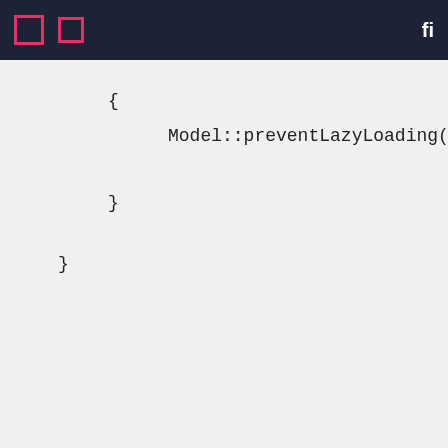Navigation bar with icons
[Figure (screenshot): Code block showing PHP Laravel code with Model::preventLazyLoading(!app()->is...) inside a boot method, with closing braces. Background is light gray.]
Now, if you launch a page with an N+1 query problem, you'll see an error page, something like this:
[Figure (screenshot): Laravel error page screenshot showing Illuminate\Database\LazyLoadingViolationException error with message 'Attempted to lazy load [author] on model [App\Models\Book] but lazy loading is disabled.' and stack trace panel below with file resources/views/example1.blade.php:32 highlighted in red, and code panel on right showing HTML table markup in dark theme.]